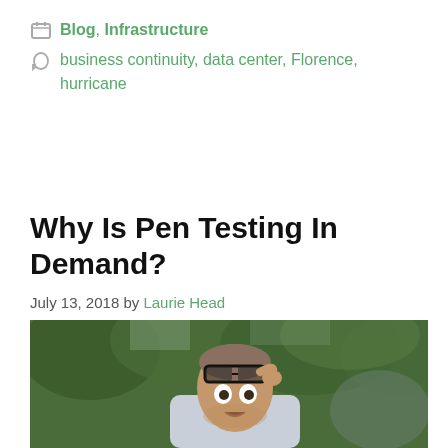Blog, Infrastructure
business continuity, data center, Florence, hurricane
Why Is Pen Testing In Demand?
July 13, 2018 by Laurie Head
[Figure (photo): A man with glasses pushed up on his forehead looking surprised, outdoors with green trees in background]